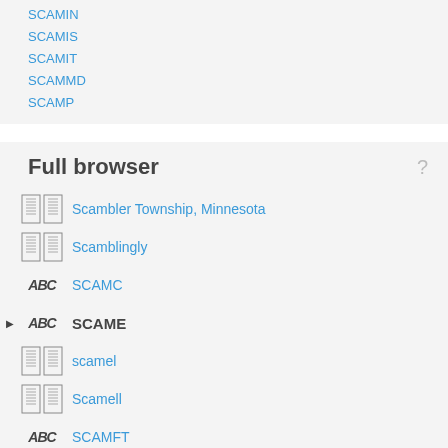SCAMIN
SCAMIS
SCAMIT
SCAMMD
SCAMP
Full browser
Scambler Township, Minnesota
Scamblingly
SCAMC
SCAME
scamel
Scamell
SCAMFT
Scamillus